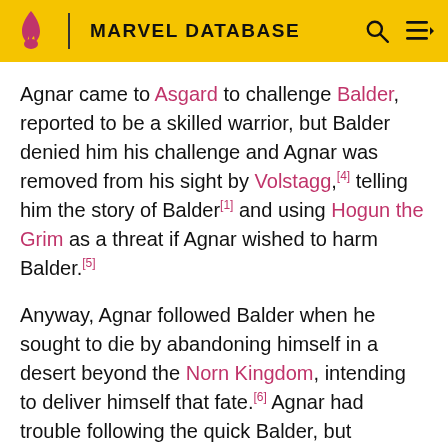MARVEL DATABASE
Agnar came to Asgard to challenge Balder, reported to be a skilled warrior, but Balder denied him his challenge and Agnar was removed from his sight by Volstagg,[4] telling him the story of Balder[1] and using Hogun the Grim as a threat if Agnar wished to harm Balder.[5]
Anyway, Agnar followed Balder when he sought to die by abandoning himself in a desert beyond the Norn Kingdom, intending to deliver himself that fate.[6] Agnar had trouble following the quick Balder, but witnessed him attacking a Giant Sand Devil with a mere stick of wood in order to protect a woman. In that, Agnar saw Balder's bravery.[7] Unable to assist Balder, too much frightened, Agnar threw his sword for the God of Light to defend himself against